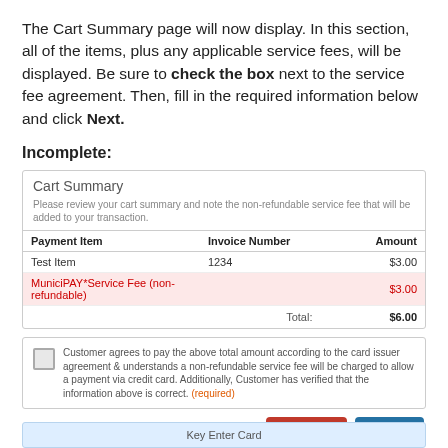The Cart Summary page will now display. In this section, all of the items, plus any applicable service fees, will be displayed. Be sure to check the box next to the service fee agreement. Then, fill in the required information below and click Next.
Incomplete:
[Figure (screenshot): Cart Summary UI widget showing a table with Payment Item, Invoice Number, and Amount columns. Rows: Test Item / 1234 / $3.00; MuniciPAY*Service Fee (non-refundable) / $3.00 (highlighted in red). Total: $6.00. Below table is a checkbox agreement with required label. Buttons: Cancel (red) and Next (blue).]